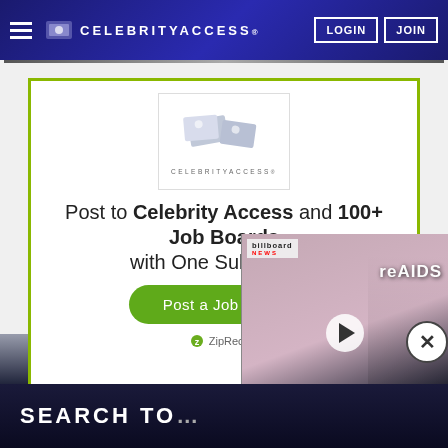CELEBRITYACCESS. LOGIN JOIN
[Figure (screenshot): CelebrityAccess website advertisement with logo, headline text 'Post to Celebrity Access and 100+ Job Boards with One Submission', a green 'Post a Job FREE' button, ZipRecruiter logo, overlaid video panel with Billboard News and play button]
Post to Celebrity Access and 100+ Job Boards with One Submission
Post a Job FREE
ZipRecru...
SEARCH TO...